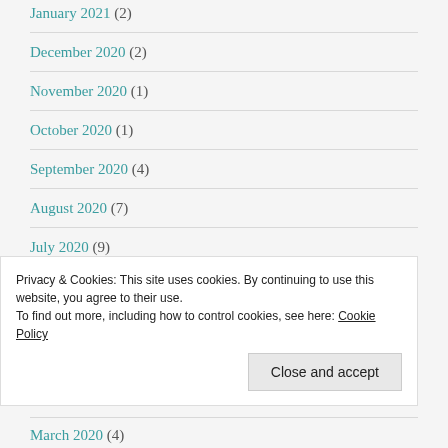January 2021 (2)
December 2020 (2)
November 2020 (1)
October 2020 (1)
September 2020 (4)
August 2020 (7)
July 2020 (9)
June 2020 (4)
Privacy & Cookies: This site uses cookies. By continuing to use this website, you agree to their use. To find out more, including how to control cookies, see here: Cookie Policy
March 2020 (4)